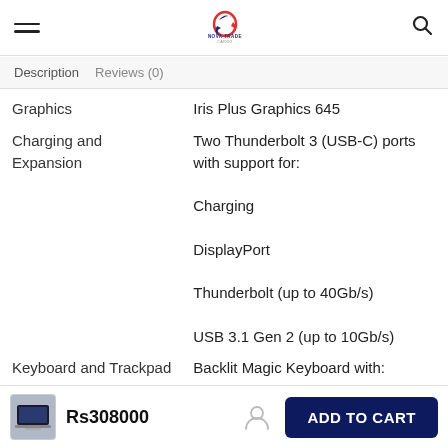Nova Trade Cargo - menu, logo, search
Description   Reviews (0)
| Graphics | Iris Plus Graphics 645 |
| Charging and Expansion | Two Thunderbolt 3 (USB-C) ports with support for:
Charging
DisplayPort
Thunderbolt (up to 40Gb/s)
USB 3.1 Gen 2 (up to 10Gb/s) |
| Keyboard and Trackpad | Backlit Magic Keyboard with:
65 (U.S.) or 66 (ISO) keys including 4 arrow keys in an inverted-T arrangement |
Rs308000   ADD TO CART